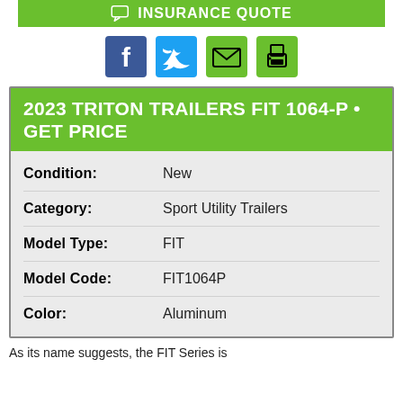[Figure (infographic): Green insurance quote button bar with speech bubble icon and text INSURANCE QUOTE]
[Figure (infographic): Social media icons row: Facebook, Twitter, Email, Print]
2023 TRITON TRAILERS FIT 1064-P • GET PRICE
| Field | Value |
| --- | --- |
| Condition: | New |
| Category: | Sport Utility Trailers |
| Model Type: | FIT |
| Model Code: | FIT1064P |
| Color: | Aluminum |
As its name suggests, the FIT Series is